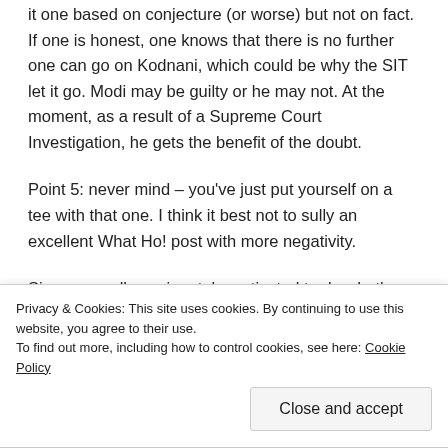it one based on conjecture (or worse) but not on fact. If one is honest, one knows that there is no further one can go on Kodnani, which could be why the SIT let it go. Modi may be guilty or he may not. At the moment, as a result of a Supreme Court Investigation, he gets the benefit of the doubt.
Point 5: never mind – you've just put yourself on a tee with that one. I think it best not to sully an excellent What Ho! post with more negativity.
Sir, we are all passionately motivated to do what's right for our country. Going irrationally after Modi (or those who speak in favour of him) doesn't seem to help the country. But it will help the Congress.
Privacy & Cookies: This site uses cookies. By continuing to use this website, you agree to their use. To find out more, including how to control cookies, see here: Cookie Policy
Close and accept